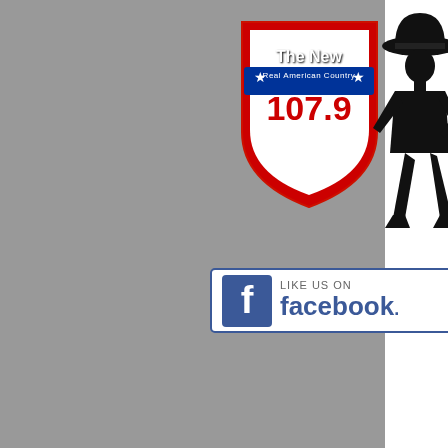[Figure (logo): The New 107.9 Real American Country radio station badge logo with red shield shape and blue banner, with a cowboy silhouette standing to the right]
[Figure (logo): Like us on Facebook button with blue Facebook 'f' icon logo]
[Figure (other): Hamburger menu icon with two horizontal lines]
n (as of as s nine him a el tape hom y nd you w up e -reel the at o dad's ood e and